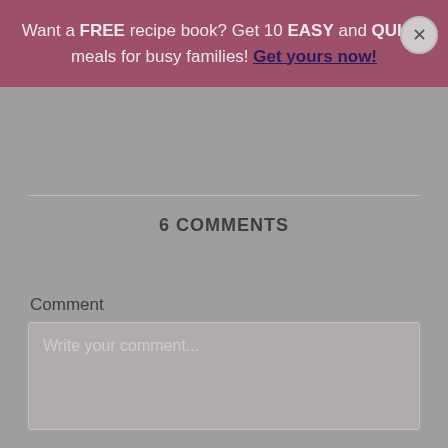Want a FREE recipe book? Get 10 EASY and QUICK meals for busy families! Get yours now!
6 COMMENTS
Comment
Write your comment...